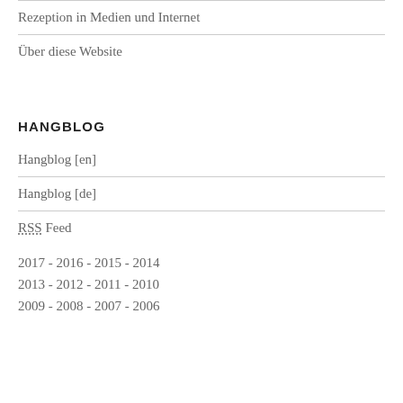Rezeption in Medien und Internet
Über diese Website
HANGBLOG
Hangblog [en]
Hangblog [de]
RSS Feed
2017 - 2016 - 2015 - 2014
2013 - 2012 - 2011 - 2010
2009 - 2008 - 2007 - 2006